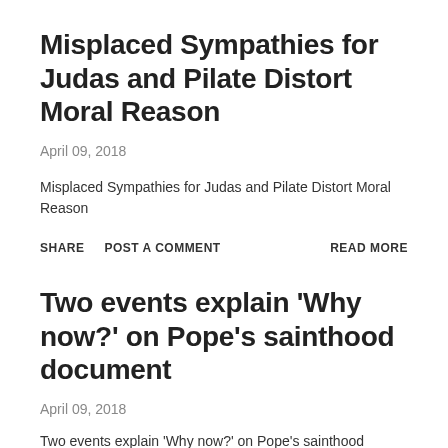Misplaced Sympathies for Judas and Pilate Distort Moral Reason
April 09, 2018
Misplaced Sympathies for Judas and Pilate Distort Moral Reason
SHARE
POST A COMMENT
READ MORE
Two events explain 'Why now?' on Pope's sainthood document
April 09, 2018
Two events explain 'Why now?' on Pope's sainthood document